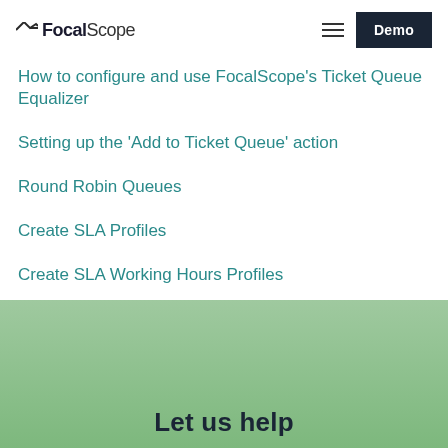FocalScope — Demo
How to configure and use FocalScope's Ticket Queue Equalizer
Setting up the 'Add to Ticket Queue' action
Round Robin Queues
Create SLA Profiles
Create SLA Working Hours Profiles
FocalScope SLA - fillter by folder and agent
Let us help